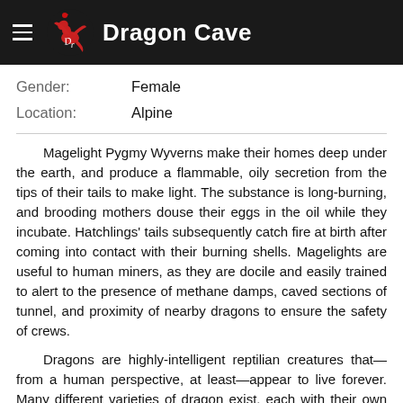Dragon Cave
Gender: Female
Location: Alpine
Magelight Pygmy Wyverns make their homes deep under the earth, and produce a flammable, oily secretion from the tips of their tails to make light. The substance is long-burning, and brooding mothers douse their eggs in the oil while they incubate. Hatchlings' tails subsequently catch fire at birth after coming into contact with their burning shells. Magelights are useful to human miners, as they are docile and easily trained to alert to the presence of methane damps, caved sections of tunnel, and proximity of nearby dragons to ensure the safety of crews.
Dragons are highly-intelligent reptilian creatures that—from a human perspective, at least—appear to live forever. Many different varieties of dragon exist, each with their own unique qualities, habitats, and behavior. Adolescence in dragons is usually marked by the growth of a hatchling's wings, although not all breeds of dragons grow wings and some breeds have other traits that indicate the beginning of maturation. In Galsreim, dragons and humans coexist peacefully.